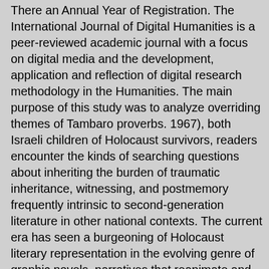There an Annual Year of Registration. The International Journal of Digital Humanities is a peer-reviewed academic journal with a focus on digital media and the development, application and reflection of digital research methodology in the Humanities. The main purpose of this study was to analyze overriding themes of Tambaro proverbs. 1967), both Israeli children of Holocaust survivors, readers encounter the kinds of searching questions about inheriting the burden of traumatic inheritance, witnessing, and postmemory frequently intrinsic to second-generation literature in other national contexts. The current era has seen a burgeoning of Holocaust literary representation in the evolving genre of graphic novels, narratives that reanimate and materialize the past through the juxtapositions and intersections of text and image. 10.4236/psych.2020.1112117 North American larping (live-action roleplaying) is a collaborative performance that encourages critical and creative engagement with cooperative, improvisational narratives. This paper comparatively explores various speculative works that either reinforce a paradigm of White innocence that serves to deny such legacies or center critical dialogue between the past and present. Speculating Ancestor(ie)s: The